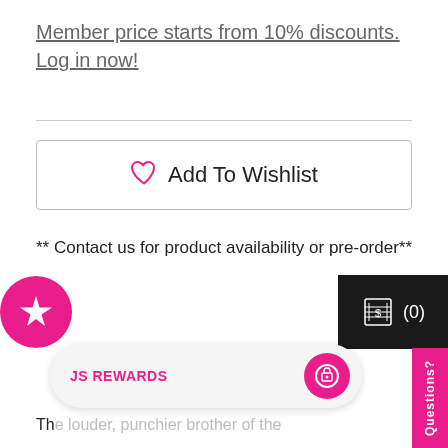Member price starts from 10% discounts. Log in now!
[Figure (other): Add To Wishlist button with heart icon]
** Contact us for product availability or pre-order**
[Figure (logo): DiMarzio logo with gear/sun icon]
Th... lder, punchier brother of the Fast Track 1™. More power is concentrated in the
[Figure (other): JS Rewards badge overlay with gift icon]
[Figure (other): Star badge pink circle with white star]
[Figure (other): Dark cart badge with (0)]
[Figure (other): Questions pink sidebar tab]